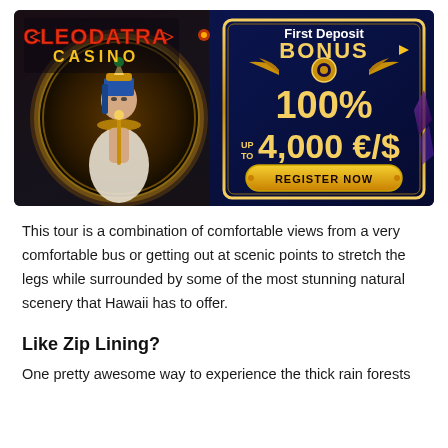[Figure (infographic): Cleopatra Casino advertisement banner showing a Cleopatra character on the left and text on the right reading 'First Deposit BONUS 100% UP TO 4,000 €/$ REGISTER NOW' on a dark blue background with Egyptian motifs and gold ornamentation.]
This tour is a combination of comfortable views from a very comfortable bus or getting out at scenic points to stretch the legs while surrounded by some of the most stunning natural scenery that Hawaii has to offer.
Like Zip Lining?
One pretty awesome way to experience the thick rain forests